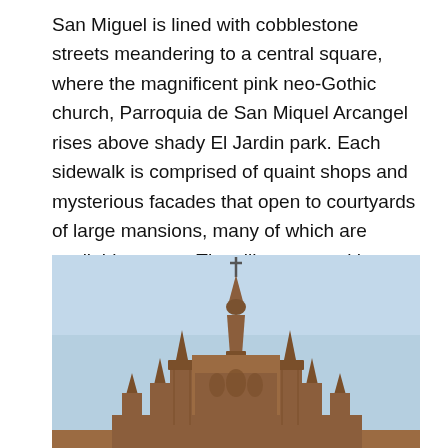San Miguel is lined with cobblestone streets meandering to a central square, where the magnificent pink neo-Gothic church, Parroquia de San Miquel Arcangel rises above shady El Jardin park. Each sidewalk is comprised of quaint shops and mysterious facades that open to courtyards of large mansions, many of which are available to rent. The villas come with cooks, housekeepers, and an occasional “house dog.” Several wedding guests pitched in to share rental estates.
[Figure (photo): A photo of the top of the Parroquia de San Miguel Arcangel neo-Gothic church spire against a blue sky, showing ornate pink stone towers with a cross at the top.]